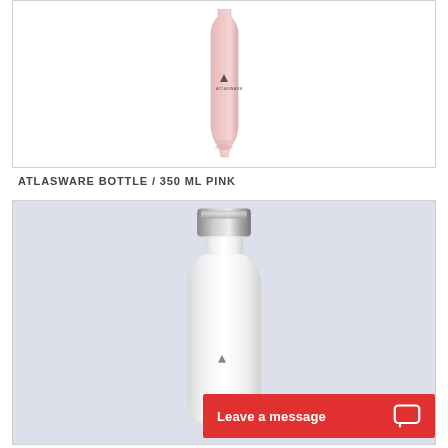[Figure (photo): Pink Atlasware 350ml water bottle on white background, upper portion visible]
ATLASWARE BOTTLE / 350 ML PINK
[Figure (photo): White Atlasware water bottle with silver/chrome cap on light blue-grey background]
Leave a message